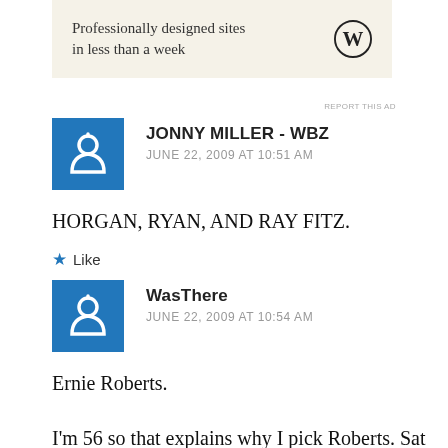[Figure (other): Advertisement banner: 'Professionally designed sites in less than a week' with WordPress logo]
REPORT THIS AD
JONNY MILLER - WBZ
JUNE 22, 2009 AT 10:51 AM
HORGAN, RYAN, AND RAY FITZ.
Like
WasThere
JUNE 22, 2009 AT 10:54 AM
Ernie Roberts.

I'm 56 so that explains why I pick Roberts. Sat morning Globe was a must read because of his Sports Page 1